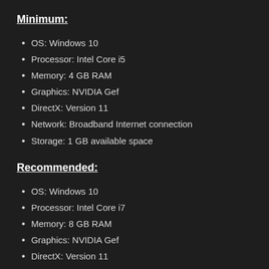Minimum:
OS: Windows 10
Processor: Intel Core i5
Memory: 4 GB RAM
Graphics: NVIDIA Gef
DirectX: Version 11
Network: Broadband Internet connection
Storage: 1 GB available space
Recommended:
OS: Windows 10
Processor: Intel Core i7
Memory: 8 GB RAM
Graphics: NVIDIA Gef
DirectX: Version 11
Network: Broadband Internet connection
Storage: 1 GB available space